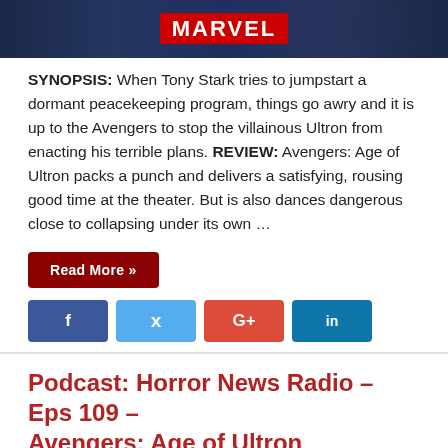[Figure (photo): Marvel movie promotional image showing dark superhero scene with Marvel logo badge]
SYNOPSIS: When Tony Stark tries to jumpstart a dormant peacekeeping program, things go awry and it is up to the Avengers to stop the villainous Ultron from enacting his terrible plans. REVIEW: Avengers: Age of Ultron packs a punch and delivers a satisfying, rousing good time at the theater. But is also dances dangerous close to collapsing under its own …
Read More »
[Figure (infographic): Social media share buttons: Facebook (f), Twitter (bird icon), Google+ (G+), LinkedIn (in)]
Podcast: Horror News Radio – Eps 109 – Avengers: Age of Ultron
Doc Rotten   09/08/2011   0
[Figure (photo): Horror News Radio (HNR) podcast logo with stylized metallic text over dark background with Avengers imagery]